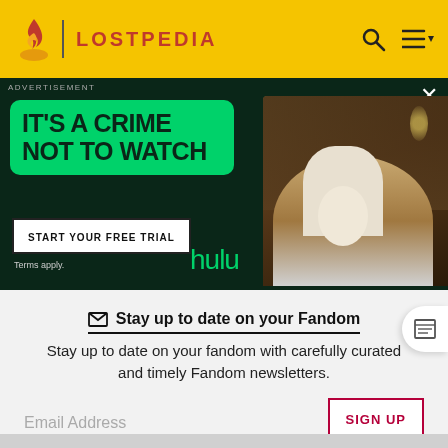LOSTPEDIA
[Figure (screenshot): Hulu advertisement banner with dark green background, green speech bubble with text IT'S A CRIME NOT TO WATCH, START YOUR FREE TRIAL button, Hulu logo in green, and a photo of a young man in a white shirt and tie holding something, with bookshelves in background]
ADVERTISEMENT
Stay up to date on your Fandom
Stay up to date on your fandom with carefully curated and timely Fandom newsletters.
Email Address
SIGN UP